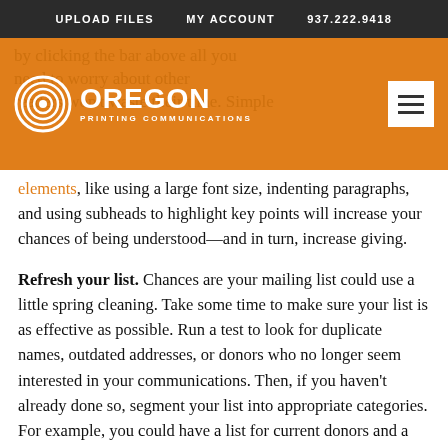UPLOAD FILES   MY ACCOUNT   937.222.9418
[Figure (logo): Oregon Printing Communications logo — white concentric circle icon with text OREGON PRINTING COMMUNICATIONS on orange background, with hamburger menu button top right. Header bar also contains ghost/watermark body text behind it.]
elements, like using a large font size, indenting paragraphs, and using subheads to highlight key points will increase your chances of being understood—and in turn, increase giving.
Refresh your list. Chances are your mailing list could use a little spring cleaning. Take some time to make sure your list is as effective as possible. Run a test to look for duplicate names, outdated addresses, or donors who no longer seem interested in your communications. Then, if you haven't already done so, segment your list into appropriate categories. For example, you could have a list for current donors and a list for newsletter subscribers who have not yet